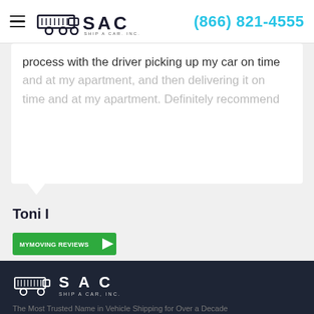SAC Ship A Car, Inc. — (866) 821-4555
process with the driver picking up my car on time and at my apartment, and then delivering it on time and at my apartment. Definitely recommend
Toni I
[Figure (logo): MyMovingReviews badge — green button with arrow]
[Figure (other): Navigation arrows — left arrow and right arrow]
[Figure (logo): SAC Ship A Car, Inc. logo (white on dark background)]
The Most Trusted Name in Vehicle Shipping for Over a Decade
Main
Services